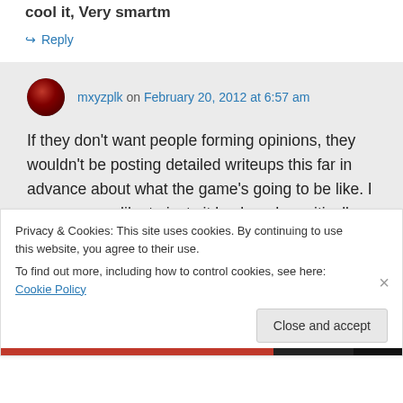cool it, very smartm
↪ Reply
mxyzplk on February 20, 2012 at 6:57 am
If they don't want people forming opinions, they wouldn't be posting detailed writeups this far in advance about what the game's going to be like. I suppose you like to just sit back and uncritically consume all
Privacy & Cookies: This site uses cookies. By continuing to use this website, you agree to their use.
To find out more, including how to control cookies, see here: Cookie Policy
Close and accept